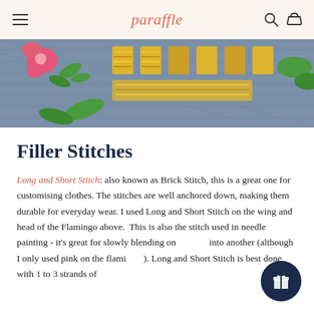paraffle
[Figure (photo): Close-up photograph of embroidery on denim fabric showing colorful thread work including pink flowers, yellow letters, and green leaves]
Filler Stitches
Long and Short Stitch: also known as Brick Stitch, this is a great one for customising clothes. The stitches are well anchored down, making them durable for everyday wear. I used Long and Short Stitch on the wing and head of the Flamingo above. This is also the stitch used in needle painting - it's great for slowly blending one colour into another (although I only used pink on the flamingo!). Long and Short Stitch is best done with 1 to 3 strands of